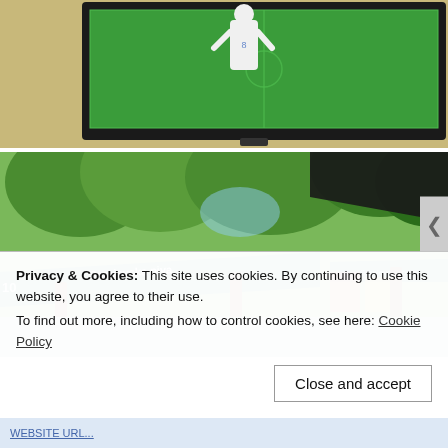[Figure (photo): A flat-screen TV mounted on a wall showing a soccer/football match with a player in white kit against a green pitch background.]
[Figure (photo): An outdoor riverside cafe or bar area with green trees, a teal/dark awning reading 'Sarajevska piva', wooden posts, and a flooded or reflective surface. Another awning visible with same branding.]
Privacy & Cookies: This site uses cookies. By continuing to use this website, you agree to their use.
To find out more, including how to control cookies, see here: Cookie Policy
Close and accept